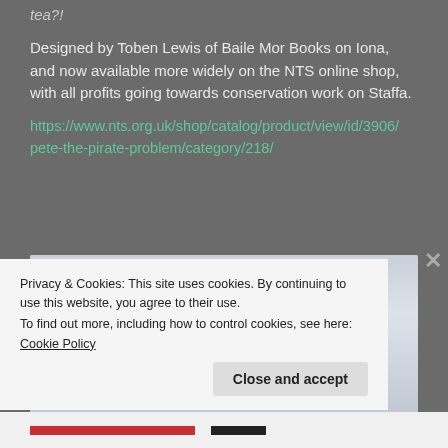tea?!
Designed by Toben Lewis of Baile Mor Books on Iona, and now available more widely on the NTS online shop, with all profits going towards conservation work on Staffa.
https://www.nts.org.uk/shop/catalog/product/view/id/3906/pete-the-pirate-problem/category/218/
[Figure (photo): Book cover showing 'Fisherman' title text in red serif font on a light blue/grey background]
Privacy & Cookies: This site uses cookies. By continuing to use this website, you agree to their use. To find out more, including how to control cookies, see here: Cookie Policy
Close and accept